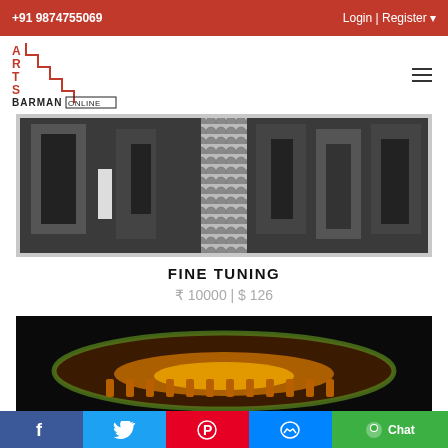+91 9874755069 | Login | Register
[Figure (logo): Arts Barman Online logo with staircase design in red and black]
[Figure (photo): Artwork titled Fine Tuning - black and white print showing architectural forms with a patterned textile element in the center]
FINE TUNING
₹ 10000 | $ 126
[Figure (photo): Dark artwork showing an oval/elliptical form with warm yellow and orange hues against a black background]
Facebook | Twitter | Pinterest | Messenger | Chat